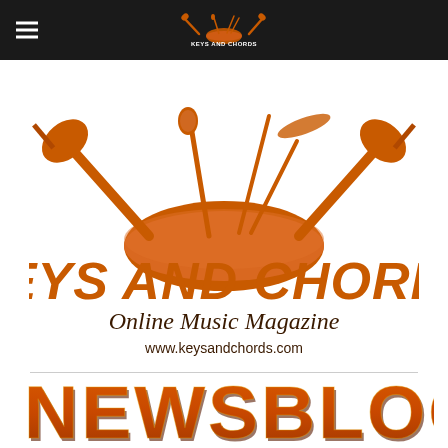[Figure (logo): Keys and Chords small logo in header navigation bar]
[Figure (logo): Keys and Chords Online Music Magazine large logo with instruments illustration, text 'KEYS AND CHORDS Online Music Magazine www.keysandchords.com']
[Figure (logo): NEWSBLOG text logo in orange/brown retro style lettering]